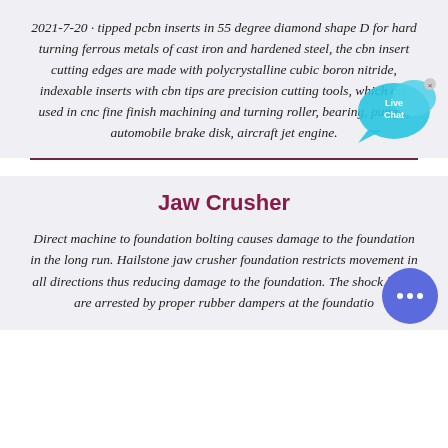2021-7-20 · tipped pcbn inserts in 55 degree diamond shape D for hard turning ferrous metals of cast iron and hardened steel, the cbn insert cutting edges are made with polycrystalline cubic boron nitride, indexable inserts with cbn tips are precision cutting tools, which are used in cnc fine finish machining and turning roller, bearing, pumps, automobile brake disk, aircraft jet engine.
[Figure (illustration): Live Chat speech bubble icon in cyan/blue color with 'Live Chat' text and a small x close button]
Jaw Crusher
Direct machine to foundation bolting causes damage to the foundation in the long run. Hailstone jaw crusher foundation restricts movement in all directions thus reducing damage to the foundation. The shock loads are arrested by proper rubber dampers at the foundatio
[Figure (illustration): Round blue chat/messenger button with three dots (ellipsis) icon]